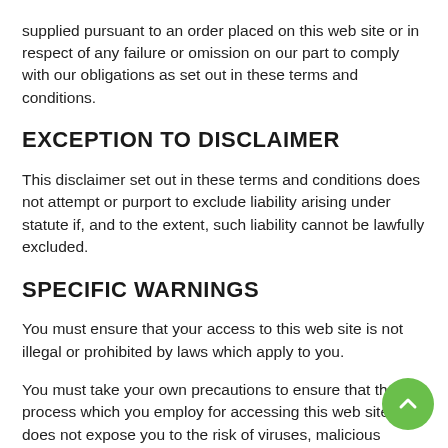supplied pursuant to an order placed on this web site or in respect of any failure or omission on our part to comply with our obligations as set out in these terms and conditions.
EXCEPTION TO DISCLAIMER
This disclaimer set out in these terms and conditions does not attempt or purport to exclude liability arising under statute if, and to the extent, such liability cannot be lawfully excluded.
SPECIFIC WARNINGS
You must ensure that your access to this web site is not illegal or prohibited by laws which apply to you.
You must take your own precautions to ensure that the process which you employ for accessing this web site does not expose you to the risk of viruses, malicious